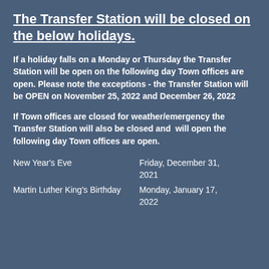The Transfer Station will be closed on the below holidays.
If a holiday falls on a Monday or Thursday the Transfer Station will be open on the following day Town offices are open. Please note the exceptions - the Transfer Station will be OPEN on November 25, 2022 and December 26, 2022
If Town offices are closed for weather/emergency the Transfer Station will also be closed and  will open the following day Town offices are open.
| New Year's Eve | Friday, December 31, 2021 |
| Martin Luther King's Birthday | Monday, January 17, 2022 |